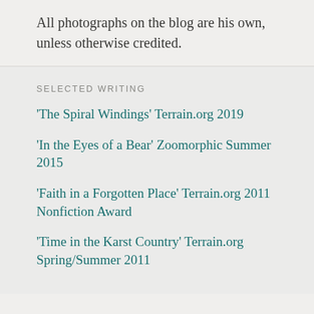All photographs on the blog are his own, unless otherwise credited.
SELECTED WRITING
'The Spiral Windings' Terrain.org 2019
'In the Eyes of a Bear' Zoomorphic Summer 2015
'Faith in a Forgotten Place' Terrain.org 2011 Nonfiction Award
'Time in the Karst Country' Terrain.org Spring/Summer 2011